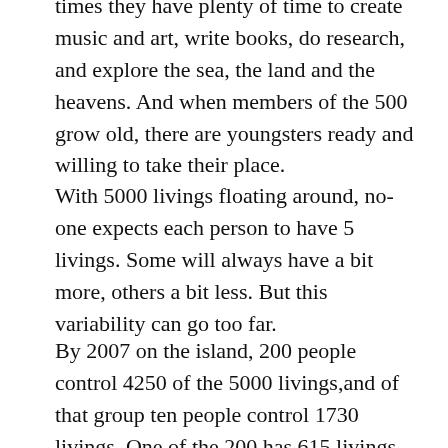times they have plenty of time to create music and art, write books, do research, and explore the sea, the land and the heavens.  And when members of the 500 grow old, there are youngsters ready and willing to take their place.
With 5000 livings floating around, no-one expects each person to have 5 livings.  Some will always have a bit more, others a bit less. But this variability can go too far.
By 2007 on the island, 200 people control 4250 of the 5000 livings,and of that group ten people control 1730 livings.  One of the 200 has 615 livings all to himself.
The other 300 members each hold about 750 li...